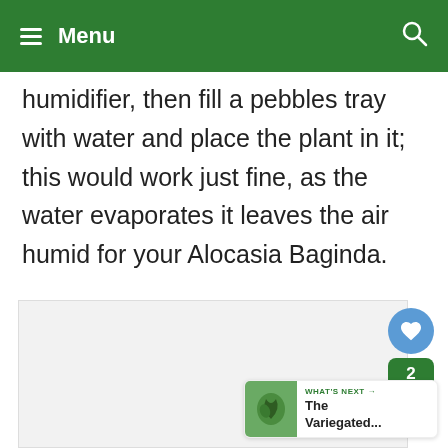≡ Menu
humidifier, then fill a pebbles tray with water and place the plant in it; this would work just fine, as the water evaporates it leaves the air humid for your Alocasia Baginda.
[Figure (other): Light gray content/image placeholder box]
WHAT'S NEXT → The Variegated...